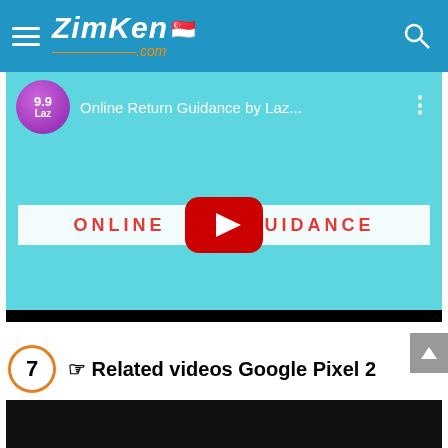ZimKen.com
[Figure (screenshot): YouTube video thumbnail showing 'Online Return Guidance by Laz...' with a play button overlay and text 'ONLINE GUIDANCE' on a light blue background]
7 ☞ Related videos Google Pixel 2
[Figure (screenshot): Bottom black bar indicating start of another video thumbnail]